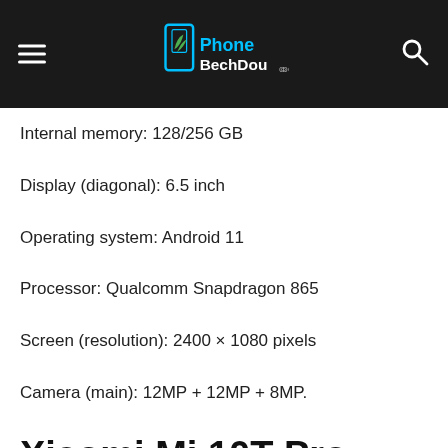PhoneBechdou
Internal memory: 128/256 GB
Display (diagonal): 6.5 inch
Operating system: Android 11
Processor: Qualcomm Snapdragon 865
Screen (resolution): 2400 × 1080 pixels
Camera (main): 12MP + 12MP + 8MP.
Xiaomi Mi 10T Pro – the best smartphone